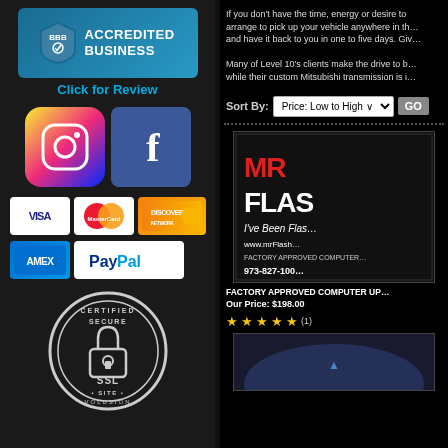[Figure (logo): BBB Accredited Business badge with teal background and shield logo]
Click for Review
[Figure (logo): Instagram icon and Facebook icon side by side]
[Figure (logo): Payment method logos: VISA, MasterCard, Discover, AMEX, PayPal]
[Figure (logo): Certified Secure Site SSL Volusion badge]
If you don't have the time, energy or desire to ... arrange to pick up your vehicle anywhere in th... and have it back to you in one to five days. Giv...
Many of Level 10's clients make the drive to b... while their custom Mitsubishi transmission is i...
Sort By: Price: Low to High GO
[Figure (photo): MR FLASH product image - Factory Approved Computer Update service, partial image showing logo and contact info 973-827-1000]
FACTORY APPROVED COMPUTER UP...
Our Price: $198.00
★★★★★ (1)
[Figure (photo): Second product image, partial view at bottom]